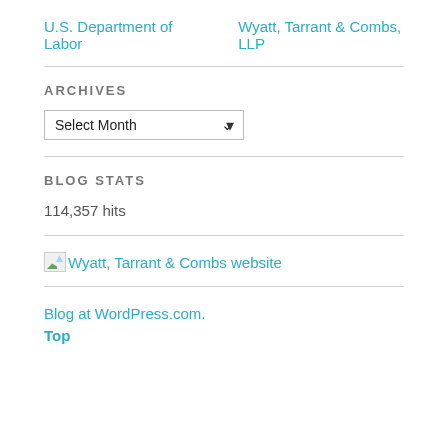U.S. Department of Labor    Wyatt, Tarrant & Combs, LLP
ARCHIVES
Select Month (dropdown)
BLOG STATS
114,357 hits
[Figure (other): Broken image icon link labeled Wyatt, Tarrant & Combs website]
Blog at WordPress.com.
Top